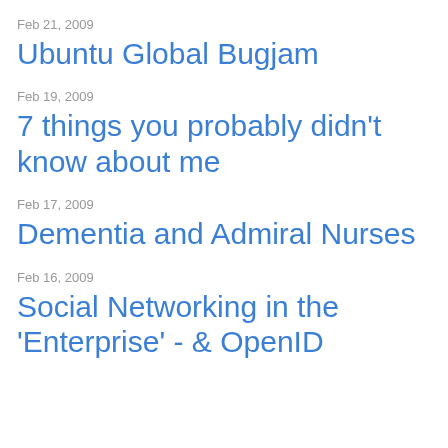Feb 21, 2009
Ubuntu Global Bugjam
Feb 19, 2009
7 things you probably didn't know about me
Feb 17, 2009
Dementia and Admiral Nurses
Feb 16, 2009
Social Networking in the 'Enterprise' - & OpenID